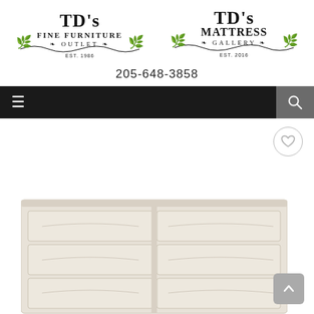[Figure (logo): TD's Fine Furniture Outlet logo with decorative scrollwork, EST. 1986]
[Figure (logo): TD's Mattress Gallery logo with decorative scrollwork, EST. 2016]
205-648-3858
[Figure (screenshot): Navigation bar with hamburger menu icon on left and search icon on right (dark/grey background)]
[Figure (photo): Heart/wishlist button (circular, outlined) in upper right of product area]
[Figure (photo): White/cream dresser with multiple drawers, partial view from below]